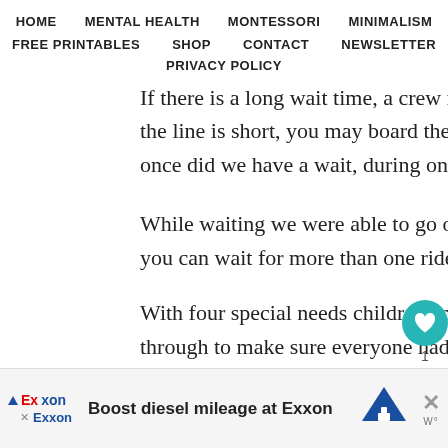HOME   MENTAL HEALTH   MONTESSORI   MINIMALISM
FREE PRINTABLES   SHOP   CONTACT   NEWSLETTER
PRIVACY POLICY
If there is a long wait time, a crew member will wr the line is short, you may board the ride immediat once did we have a wait, during one of the busiest
While waiting we were able to go on other rides a you can wait for more than one ride at a time. And
With four special needs children and only tv du through to make sure everyone had a turn. Crew m
Boost diesel mileage at Exxon